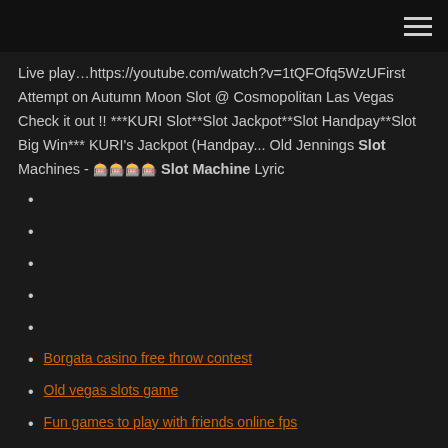[hamburger menu icon]
Live play…https://youtube.com/watch?v=1tQFOfq5WzUFirst Attempt on Autumn Moon Slot @ Cosmopolitan Las Vegas Check it out !! ***KURI Slot**Slot Jackpot**Slot Handpay**Slot Big Win*** KURI's Jackpot (Handpay... Old Jennings Slot Machines - 슬롯 Slot Machine Lyric
Borgata casino free throw contest
Old vegas slots game
Fun games to play with friends online fps
4 slot 1 band guard reserved